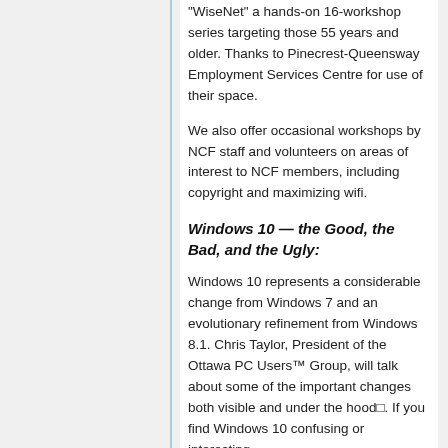"WiseNet" a hands-on 16-workshop series targeting those 55 years and older. Thanks to Pinecrest-Queensway Employment Services Centre for use of their space.
We also offer occasional workshops by NCF staff and volunteers on areas of interest to NCF members, including copyright and maximizing wifi.
Windows 10 — the Good, the Bad, and the Ugly:
Windows 10 represents a considerable change from Windows 7 and an evolutionary refinement from Windows 8.1. Chris Taylor, President of the Ottawa PC Users™ Group, will talk about some of the important changes both visible and under the hood□. If you find Windows 10 confusing or interesting...